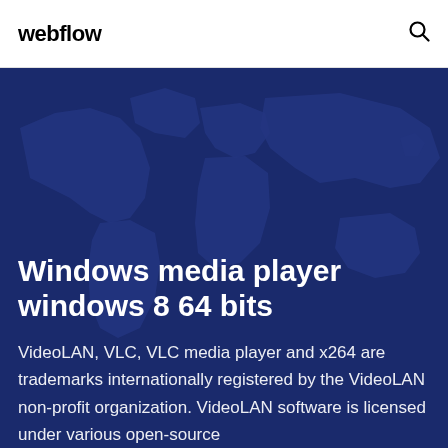webflow
[Figure (illustration): Dark navy blue world map illustration used as hero background]
Windows media player windows 8 64 bits
VideoLAN, VLC, VLC media player and x264 are trademarks internationally registered by the VideoLAN non-profit organization. VideoLAN software is licensed under various open-source